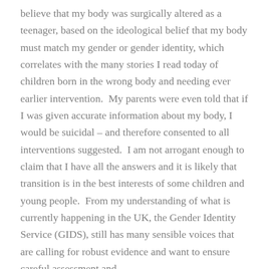believe that my body was surgically altered as a teenager, based on the ideological belief that my body must match my gender or gender identity, which correlates with the many stories I read today of children born in the wrong body and needing ever earlier intervention.  My parents were even told that if I was given accurate information about my body, I would be suicidal – and therefore consented to all interventions suggested.  I am not arrogant enough to claim that I have all the answers and it is likely that transition is in the best interests of some children and young people.  From my understanding of what is currently happening in the UK, the Gender Identity Service (GIDS), still has many sensible voices that are calling for robust evidence and want to ensure careful assessment and